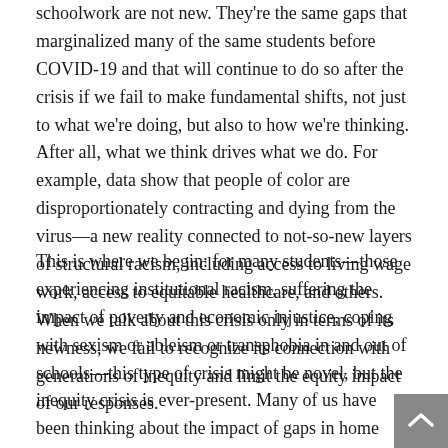schoolwork are not new. They're the same gaps that marginalized many of the same students before COVID-19 and that will continue to do so after the crisis if we fail to make fundamental shifts, not just to what we're doing, but also to how we're thinking. After all, what we think drives what we do. For example, data show that people of color are disproportionately contracting and dying from the virus—a new reality connected to not-so-new layers of structural racism, including access to living wage work, access to equitable healthcare, and others. When we talk about this crisis only in terms of its newness, we fail to recognize its connection with generations of inequity and limit the equity impact of our responses.
This is where we begin: for many students—those experiencing institutional racism, suffering the impact of poverty and economic injustice, coping with sexism or ableism or transphobia in and out of schools—this type of crisis might be novel, but the inequity crisis is ever-present. Many of us have been thinking about the impact of gaps in home access to technology, for example, long before the sudden transition most schools are making to distance learning. Many of us weren't. If we're in that second group, we need to start thinking about it, but we also